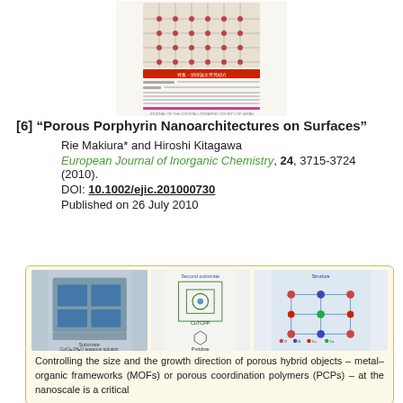[Figure (illustration): Journal cover image showing a crystallographic/nanoarchitecture structure in Japanese, with molecular diagrams and colored grid lattice structure]
[6] "Porous Porphyrin Nanoarchitectures on Surfaces"
Rie Makiura* and Hiroshi Kitagawa
European Journal of Inorganic Chemistry, 24, 3715-3724 (2010).
DOI: 10.1002/ejic.201000730
Published on 26 July 2010
[Figure (illustration): Figure showing laboratory setup with CoCl2 2H2O aqueous solution, molecular structures of CuTCPP and Pyridine, and crystal structure diagram showing coordination network with atom legend (O, N, Cu, Co)]
Controlling the size and the growth direction of porous hybrid objects – metal–organic frameworks (MOFs) or porous coordination polymers (PCPs) – at the nanoscale is a critical